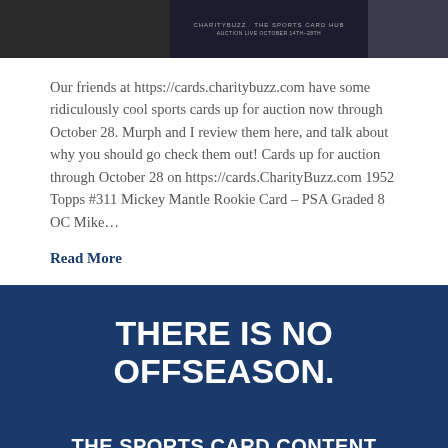[Figure (photo): Top banner image showing sports cards auction promotion with dark background, Nike logo on left, charity buzz branding in center, and partial image on right]
Our friends at https://cards.charitybuzz.com have some ridiculously cool sports cards up for auction now through October 28. Murph and I review them here, and talk about why you should go check them out! Cards up for auction through October 28 on https://cards.CharityBuzz.com 1952 Topps #311 Mickey Mantle Rookie Card – PSA Graded 8 OC Mike…
Read More
THERE IS NO OFFSEASON.
THE SPORTS CARD CONTENT NETWORK